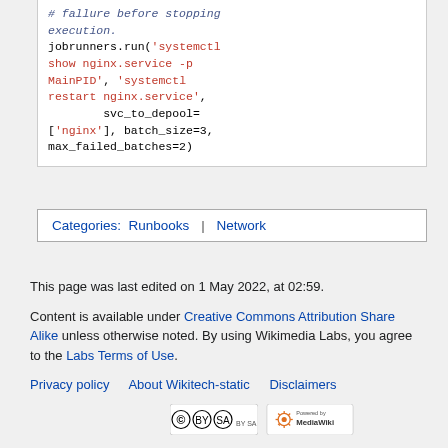[Figure (screenshot): Code snippet showing jobrunners.run() call with systemctl commands, svc_to_depool, batch_size and max_failed_batches parameters]
Categories: Runbooks | Network
This page was last edited on 1 May 2022, at 02:59.
Content is available under Creative Commons Attribution Share Alike unless otherwise noted. By using Wikimedia Labs, you agree to the Labs Terms of Use.
Privacy policy   About Wikitech-static   Disclaimers